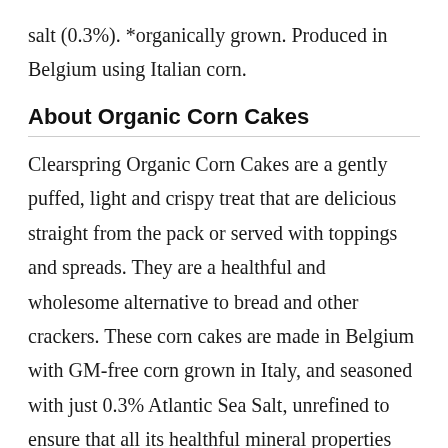salt (0.3%). *organically grown. Produced in Belgium using Italian corn.
About Organic Corn Cakes
Clearspring Organic Corn Cakes are a gently puffed, light and crispy treat that are delicious straight from the pack or served with toppings and spreads. They are a healthful and wholesome alternative to bread and other crackers. These corn cakes are made in Belgium with GM-free corn grown in Italy, and seasoned with just 0.3% Atlantic Sea Salt, unrefined to ensure that all its healthful mineral properties are